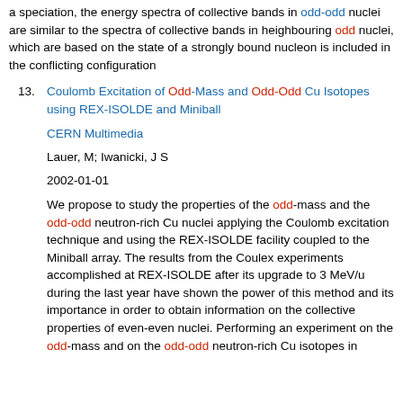a speciation, the energy spectra of collective bands in odd-odd nuclei are similar to the spectra of collective bands in heighbouring odd nuclei, which are based on the state of a strongly bound nucleon is included in the conflicting configuration
13. Coulomb Excitation of Odd-Mass and Odd-Odd Cu Isotopes using REX-ISOLDE and Miniball
CERN Multimedia
Lauer, M; Iwanicki, J S
2002-01-01
We propose to study the properties of the odd-mass and the odd-odd neutron-rich Cu nuclei applying the Coulomb excitation technique and using the REX-ISOLDE facility coupled to the Miniball array. The results from the Coulex experiments accomplished at REX-ISOLDE after its upgrade to 3 MeV/u during the last year have shown the power of this method and its importance in order to obtain information on the collective properties of even-even nuclei. Performing an experiment on the odd-mass and on the odd-odd neutron-rich Cu isotopes in